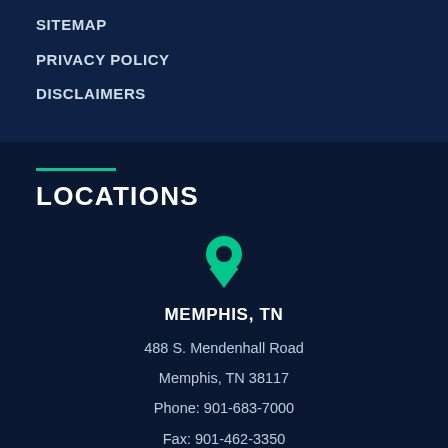SITEMAP
PRIVACY POLICY
DISCLAIMERS
LOCATIONS
[Figure (illustration): Green map pin / location marker icon]
MEMPHIS, TN
488 S. Mendenhall Road
Memphis, TN 38117
Phone: 901-683-7000
Fax: 901-462-3350
[Figure (illustration): Green map pin / location marker icon (partially visible at bottom)]